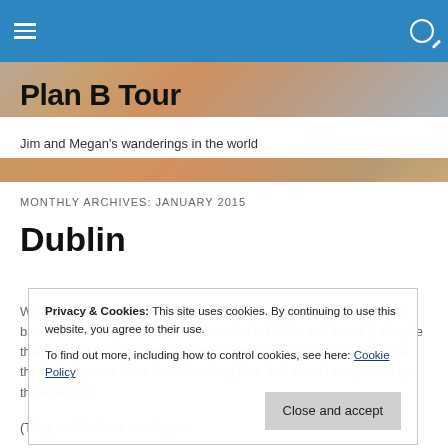Plan B Tour — navigation bar with hamburger menu and search icon
Plan B Tour
Jim and Megan's wanderings in the world
MONTHLY ARCHIVES: JANUARY 2015
Dublin
Winter finally caught up with us as we have begun making our way back west. We spent the last two weeks in Dublin and loved it, despite the cold and wet. Ireland has a rich culture and a strong history. It is the first place we have been in a long time that wasn't conquered by the Romans.
Privacy & Cookies: This site uses cookies. By continuing to use this website, you agree to their use. To find out more, including how to control cookies, see here: Cookie Policy
(They ... Continue reading →